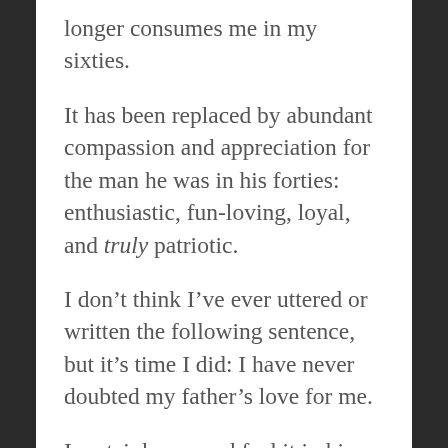longer consumes me in my sixties.
It has been replaced by abundant compassion and appreciation for the man he was in his forties: enthusiastic, fun-loving, loyal, and truly patriotic.
I don’t think I’ve ever uttered or written the following sentence, but it’s time I did: I have never doubted my father’s love for me.
I certainly see and feel it in his eyes in this (now vintage) photograph my mother captured of Dad and me.